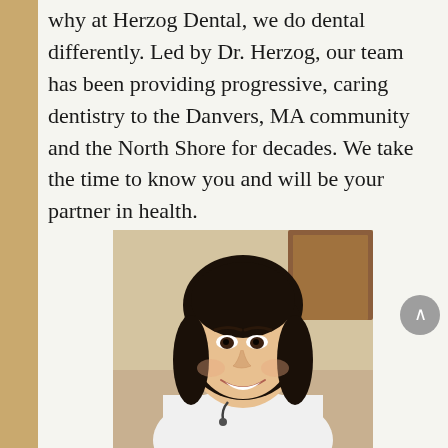why at Herzog Dental, we do dental differently. Led by Dr. Herzog, our team has been providing progressive, caring dentistry to the Danvers, MA community and the North Shore for decades. We take the time to know you and will be your partner in health.
[Figure (photo): Photo of a smiling Asian female dentist/doctor wearing a white coat, with dark shoulder-length hair, photographed in a dental office setting with wooden cabinetry visible in the background.]